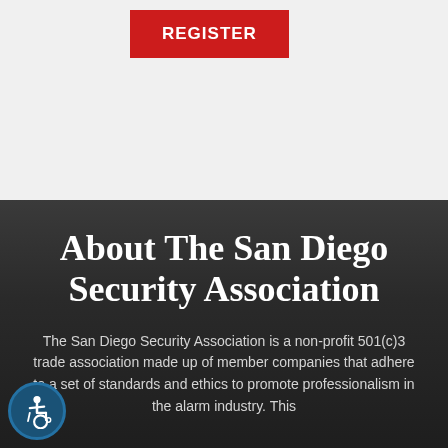[Figure (other): Red REGISTER button on light gray background]
About The San Diego Security Association
The San Diego Security Association is a non-profit 501(c)3 trade association made up of member companies that adhere to a set of standards and ethics to promote professionalism in the alarm industry. This